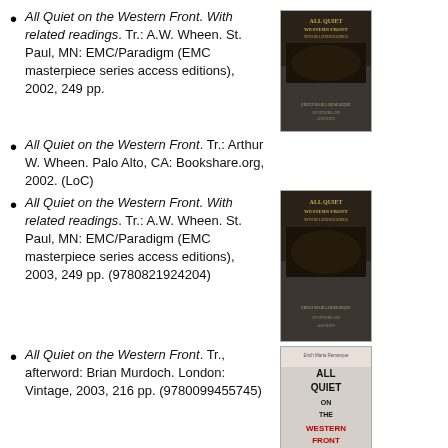All Quiet on the Western Front. With related readings. Tr.: A.W. Wheen. St. Paul, MN: EMC/Paradigm (EMC masterpiece series access editions), 2002, 249 pp.
[Figure (photo): Book cover of All Quiet on the Western Front with related readings, dark battlefield scene]
All Quiet on the Western Front. Tr.: Arthur W. Wheen. Palo Alto, CA: Bookshare.org, 2002. (LoC)
All Quiet on the Western Front. With related readings. Tr.: A.W. Wheen. St. Paul, MN: EMC/Paradigm (EMC masterpiece series access editions), 2003, 249 pp. (9780821924204)
[Figure (photo): Book cover of All Quiet on the Western Front with related readings, dark battlefield scene, 2003 edition]
All Quiet on the Western Front. Tr., afterword: Brian Murdoch. London: Vintage, 2003, 216 pp. (9780099455745)
[Figure (photo): Book cover of All Quiet on the Western Front, Vintage edition with red poppies]
All Quiet on the Western Front. Tr., afterword: Brian Murdoch. London: Vintage,